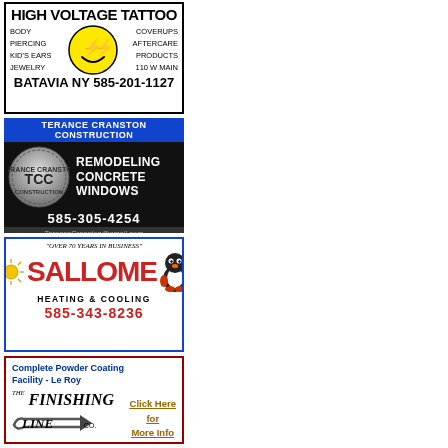[Figure (infographic): High Voltage Tattoo advertisement. Black and white ad with bold text. Services: Body Piercing, Kid's Ears, Jewelry, Coverups, Aftercare Products. Yellow smiley face with lightning bolts logo. Address: 110 W Main. Phone: 585-201-1127. Location: Batavia NY.]
[Figure (infographic): Terance Cranston Construction advertisement. Dark background with blue header. TCC logo circle. Services: Remodeling, Concrete, Windows. Phone: 585-305-4254. Email: TeranceCranston@gmail.com.]
[Figure (infographic): Sallome Heating & Cooling advertisement. Blue border. Tagline: Over 70 Years in Business. Red bold Sallome text with penguin mascot. Phone: 585-343-8236.]
[Figure (infographic): The Finishing Line advertisement. Red border. Complete Powder Coating Facility - Le Roy. The Finishing Line Co logo with arrow. Click Here for More Info link in gold.]
[Figure (infographic): Jagged Edges Salon advertisement. Orange and red italic text. Experienced Stylists, Walkins Welcome. Phone: 343-1010. Photo of woman with red hair.]